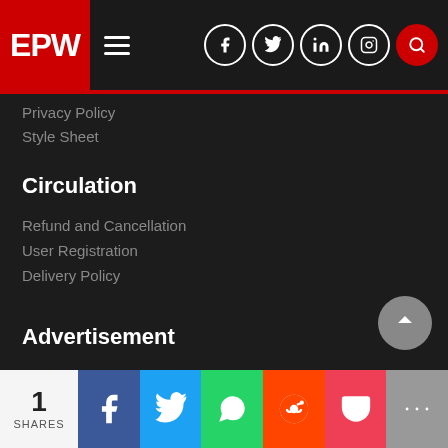EPW
Privacy Policy
Style Sheet
Circulation
Refund and Cancellation
User Registration
Delivery Policy
Advertisement
Why Advertise in EPW?
Advertisement Tariffs
1 SHARES — social share bar (Facebook, Twitter, WhatsApp, Reddit, Pocket, More)